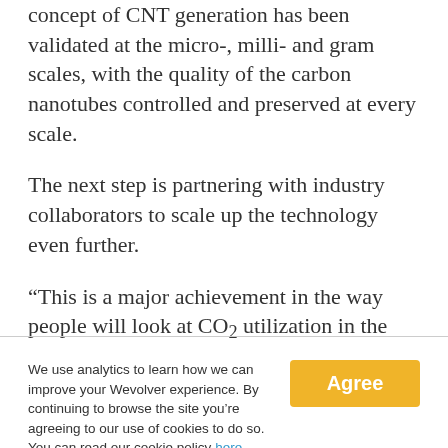concept of CNT generation has been validated at the micro-, milli- and gram scales, with the quality of the carbon nanotubes controlled and preserved at every scale.
The next step is partnering with industry collaborators to scale up the technology even further.
“This is a major achievement in the way people will look at CO₂ utilization in the future,”
We use analytics to learn how we can improve your Wevolver experience. By continuing to browse the site you’re agreeing to our use of cookies to do so. You can read our cookie policy here.